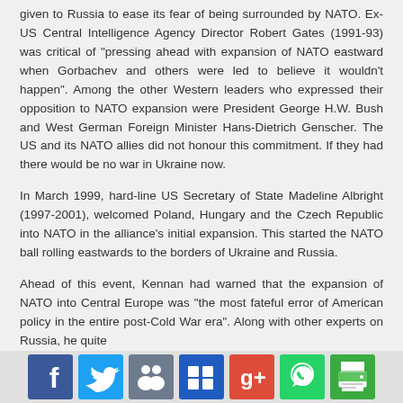given to Russia to ease its fear of being surrounded by NATO. Ex-US Central Intelligence Agency Director Robert Gates (1991-93) was critical of "pressing ahead with expansion of NATO eastward when Gorbachev and others were led to believe it wouldn't happen". Among the other Western leaders who expressed their opposition to NATO expansion were President George H.W. Bush and West German Foreign Minister Hans-Dietrich Genscher. The US and its NATO allies did not honour this commitment. If they had there would be no war in Ukraine now.
In March 1999, hard-line US Secretary of State Madeline Albright (1997-2001), welcomed Poland, Hungary and the Czech Republic into NATO in the alliance's initial expansion. This started the NATO ball rolling eastwards to the borders of Ukraine and Russia.
Ahead of this event, Kennan had warned that the expansion of NATO into Central Europe was "the most fateful error of American policy in the entire post-Cold War era". Along with other experts on Russia, he quite
[Figure (infographic): Social media sharing buttons bar: Facebook (blue), Twitter (blue), LinkedIn/people icon (blue-grey), Delicious/Digg (blue), Google+ (red), WhatsApp (green), Print (green)]